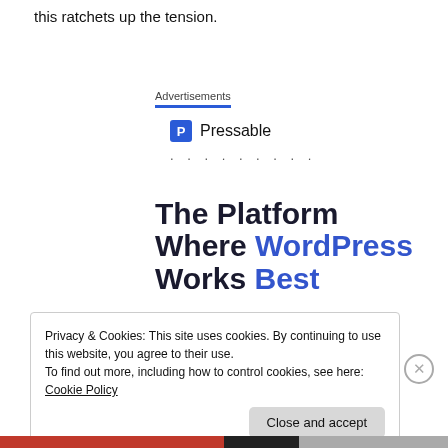this ratchets up the tension.
Advertisements
[Figure (logo): Pressable logo: blue square with white P letter followed by text 'Pressable', with dotted loading indicator below]
The Platform Where WordPress Works Best
Privacy & Cookies: This site uses cookies. By continuing to use this website, you agree to their use.
To find out more, including how to control cookies, see here: Cookie Policy